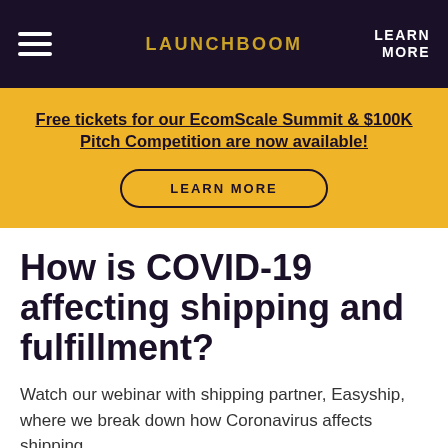LAUNCHBOOM | LEARN MORE
Free tickets for our EcomScale Summit & $100K Pitch Competition are now available!
LEARN MORE
How is COVID-19 affecting shipping and fulfillment?
Watch our webinar with shipping partner, Easyship, where we break down how Coronavirus affects shipping.
Ma[t R...]